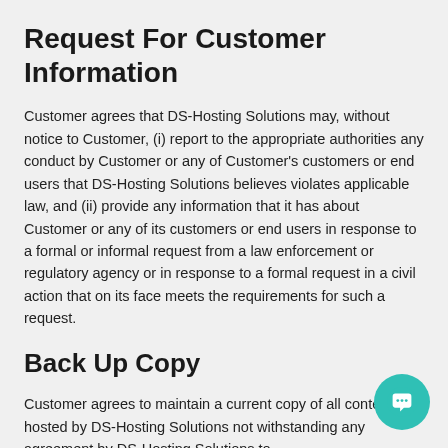Request For Customer Information
Customer agrees that DS-Hosting Solutions may, without notice to Customer, (i) report to the appropriate authorities any conduct by Customer or any of Customer's customers or end users that DS-Hosting Solutions believes violates applicable law, and (ii) provide any information that it has about Customer or any of its customers or end users in response to a formal or informal request from a law enforcement or regulatory agency or in response to a formal request in a civil action that on its face meets the requirements for such a request.
Back Up Copy
Customer agrees to maintain a current copy of all content hosted by DS-Hosting Solutions not withstanding any agreement by DS-Hosting Solutions to